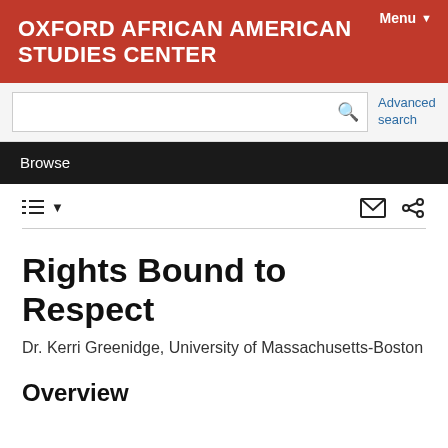OXFORD AFRICAN AMERICAN STUDIES CENTER
Menu ▼
Advanced search
Browse
Rights Bound to Respect
Dr. Kerri Greenidge, University of Massachusetts-Boston
Overview